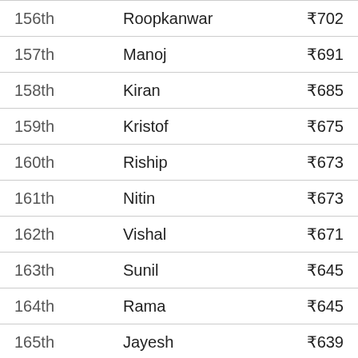| Rank | Name | Amount |
| --- | --- | --- |
| 156th | Roopkanwar | ₹702 |
| 157th | Manoj | ₹691 |
| 158th | Kiran | ₹685 |
| 159th | Kristof | ₹675 |
| 160th | Riship | ₹673 |
| 161th | Nitin | ₹673 |
| 162th | Vishal | ₹671 |
| 163th | Sunil | ₹645 |
| 164th | Rama | ₹645 |
| 165th | Jayesh | ₹639 |
| 166th | Rajukhatri | ₹631 |
| 167th | Ashokr170717 | ₹630 |